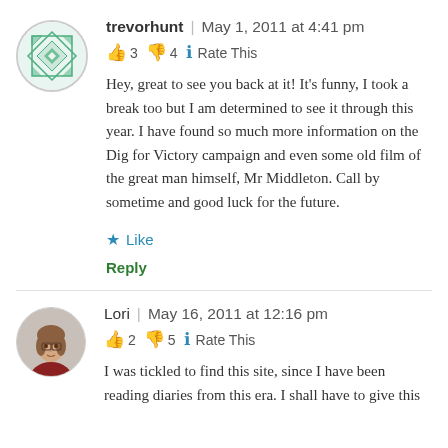trevorhunt | May 1, 2011 at 4:41 pm
👍 3 👎 4 ℹ Rate This
Hey, great to see you back at it! It's funny, I took a break too but I am determined to see it through this year. I have found so much more information on the Dig for Victory campaign and even some old film of the great man himself, Mr Middleton. Call by sometime and good luck for the future.
★ Like
Reply
Lori | May 16, 2011 at 12:16 pm
👍 2 👎 5 ℹ Rate This
I was tickled to find this site, since I have been reading diaries from this era. I shall have to give this